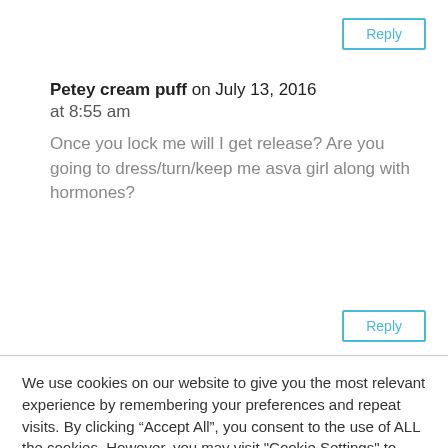Reply
Petey cream puff on July 13, 2016 at 8:55 am
Once you lock me will I get release? Are you going to dress/turn/keep me asva girl along with hormones?
Reply
We use cookies on our website to give you the most relevant experience by remembering your preferences and repeat visits. By clicking “Accept All”, you consent to the use of ALL the cookies. However, you may visit "Cookie Settings" to provide a controlled consent.
Cookie Settings
Accept All